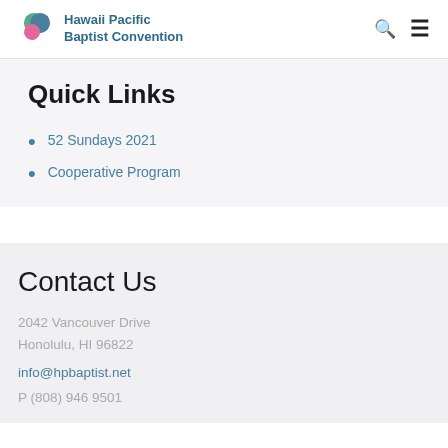Hawaii Pacific Baptist Convention
Quick Links
52 Sundays 2021
Cooperative Program
Contact Us
2042 Vancouver Drive
Honolulu, HI 96822
info@hpbaptist.net
P (808) 946 9501